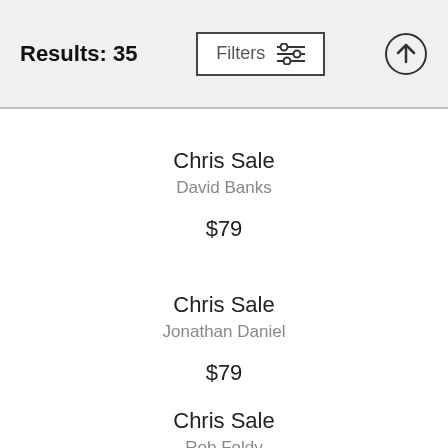Results: 35  Filters  ↑
Chris Sale
David Banks
$79
Chris Sale
Jonathan Daniel
$79
Chris Sale
Rob Foldy